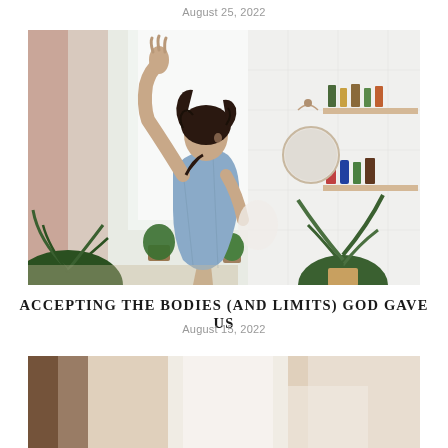August 25, 2022
[Figure (photo): Woman in light blue shirt stretching arm upward in a bright bathroom/bedroom with plants, mirror, shelves with bottles, and white tile walls]
ACCEPTING THE BODIES (AND LIMITS) GOD GAVE US
August 15, 2022
[Figure (photo): Partial view of another article image, showing a bright indoor scene]